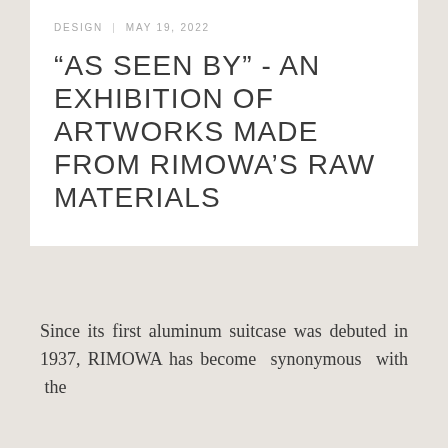DESIGN  |  MAY 19, 2022
"AS SEEN BY" - AN EXHIBITION OF ARTWORKS MADE FROM RIMOWA'S RAW MATERIALS
Since its first aluminum suitcase was debuted in 1937, RIMOWA has become synonymous with the